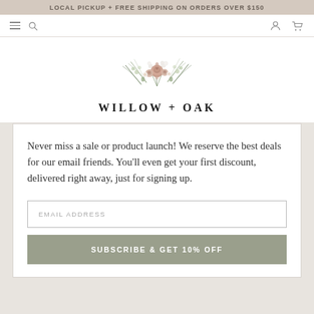LOCAL PICKUP + FREE SHIPPING ON ORDERS OVER $150
[Figure (logo): Willow + Oak logo with floral arrangement above text]
Never miss a sale or product launch! We reserve the best deals for our email friends. You'll even get your first discount, delivered right away, just for signing up.
EMAIL ADDRESS
SUBSCRIBE & GET 10% OFF